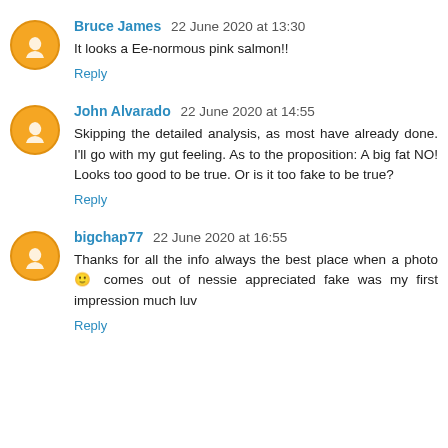Bruce James 22 June 2020 at 13:30
It looks a Ee-normous pink salmon!!
Reply
John Alvarado 22 June 2020 at 14:55
Skipping the detailed analysis, as most have already done. I'll go with my gut feeling. As to the proposition: A big fat NO! Looks too good to be true. Or is it too fake to be true?
Reply
bigchap77 22 June 2020 at 16:55
Thanks for all the info always the best place when a photo comes out of nessie appreciated fake was my first impression much luv
Reply